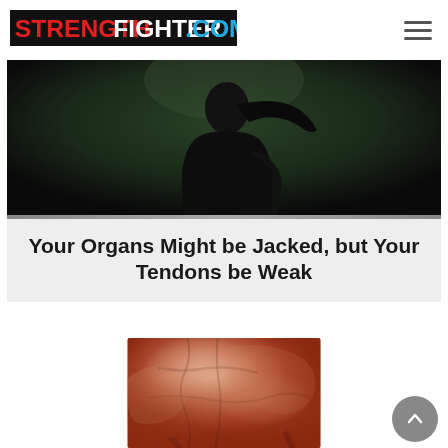STRENGTHFIGHTER.COM
[Figure (photo): Dark silhouette of a person against a dark green/black dramatic background, viewed from behind]
Your Organs Might be Jacked, but Your Tendons be Weak
[Figure (photo): Close-up photo of muscular bodybuilder physique showing detailed muscle definition, reddish skin tones]